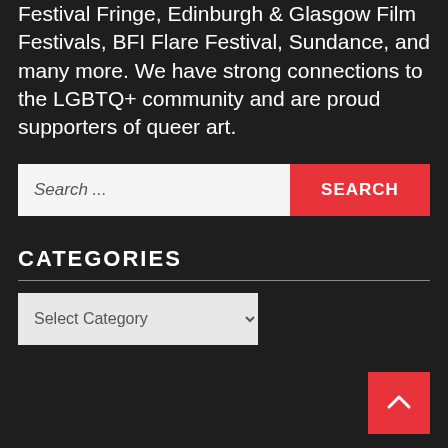Festival Fringe, Edinburgh & Glasgow Film Festivals, BFI Flare Festival, Sundance, and many more. We have strong connections to the LGBTQ+ community and are proud supporters of queer art.
[Figure (screenshot): Search bar with white input field showing placeholder text 'Search ...' and a red button labeled 'SEARCH']
CATEGORIES
[Figure (screenshot): Dropdown select box labeled 'Select Category']
[Figure (screenshot): Red scroll-to-top button with upward chevron arrow in bottom right corner]